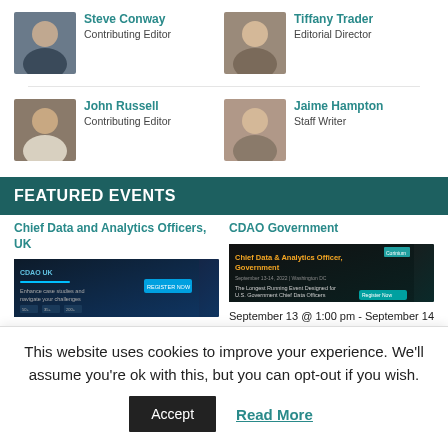Steve Conway
Contributing Editor
Tiffany Trader
Editorial Director
John Russell
Contributing Editor
Jaime Hampton
Staff Writer
FEATURED EVENTS
Chief Data and Analytics Officers, UK
[Figure (screenshot): CDAO UK event banner image with blue and dark background]
September 5 - September 7
CDAO Government
[Figure (screenshot): Chief Data & Analytics Officer, Government event banner - September 13-14 2022]
September 13 @ 1:00 pm - September 14 @ 5:00 pm
This website uses cookies to improve your experience. We'll assume you're ok with this, but you can opt-out if you wish.
Accept
Read More